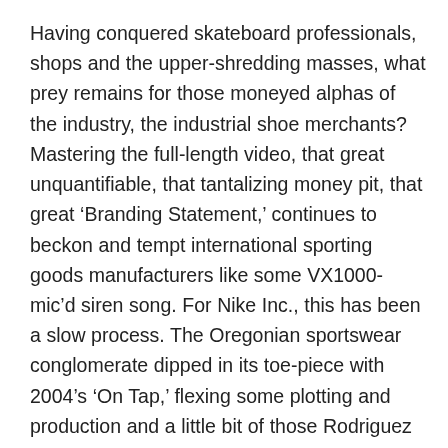Having conquered skateboard professionals, shops and the upper-shredding masses, what prey remains for those moneyed alphas of the industry, the industrial shoe merchants? Mastering the full-length video, that great unquantifiable, that tantalizing money pit, that great ‘Branding Statement,’ continues to beckon and tempt international sporting goods manufacturers like some VX1000-mic’d siren song. For Nike Inc., this has been a slow process. The Oregonian sportswear conglomerate dipped in its toe-piece with 2004’s ‘On Tap,’ flexing some plotting and production and a little bit of those Rodriguez acting chops, but never fully committing. Nike saved that for 2007’s bloated misfire ‘Nuttin’ But the Truth,’ which saddled some truly great skating, a still-corralable team and perhaps the all-time greatest Danny Supa part with an insistent storyline that, while intriguingly bizarre, asked far